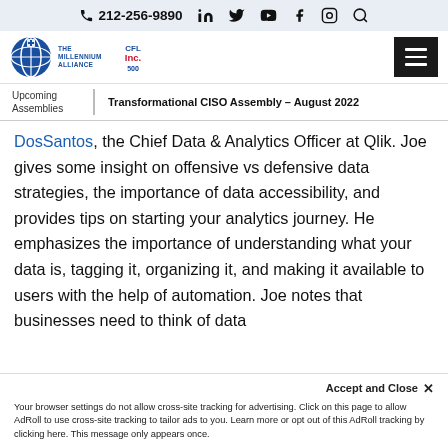📞 212-256-9890  in  🐦  ▶  f  📷  🔍
[Figure (logo): The Millennium Alliance logo with globe icon and INC 500 badge, plus hamburger menu button]
Upcoming Assemblies | Transformational CISO Assembly – August 2022
DosSantos, the Chief Data & Analytics Officer at Qlik. Joe gives some insight on offensive vs defensive data strategies, the importance of data accessibility, and provides tips on starting your analytics journey. He emphasizes the importance of understanding what your data is, tagging it, organizing it, and making it available to users with the help of automation. Joe notes that businesses need to think of data
Accept and Close ✕
Your browser settings do not allow cross-site tracking for advertising. Click on this page to allow AdRoll to use cross-site tracking to tailor ads to you. Learn more or opt out of this AdRoll tracking by clicking here. This message only appears once.